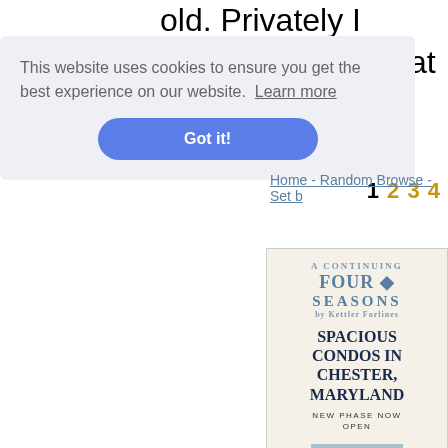old. Privately I thought it lucky that he type of mind.
1 2 3 4
[Figure (illustration): Advertisement for Four Seasons condos in Chester, Maryland. Shows Four Seasons logo, headline 'SPACIOUS CONDOS IN CHESTER, MARYLAND', subtext 'NEW PHASE NOW OPEN', and a 'LEARN MORE' button.]
This website uses cookies to ensure you get the best experience on our website. Learn more
Got it!
Home - Random Browse - Set b